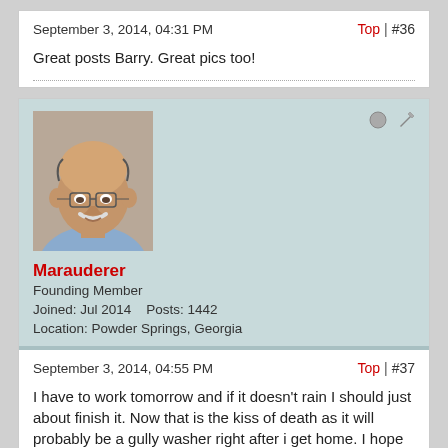September 3, 2014, 04:31 PM
Top | #36
Great posts Barry. Great pics too!
[Figure (photo): Profile photo of Marauderer - older man with white mustache]
Marauderer
Founding Member
Joined: Jul 2014    Posts: 1442    Location: Powder Springs, Georgia
September 3, 2014, 04:55 PM
Top | #37
I have to work tomorrow and if it doesn't rain I should just about finish it. Now that is the kiss of death as it will probably be a gully washer right after i get home. I hope not.
8 comments